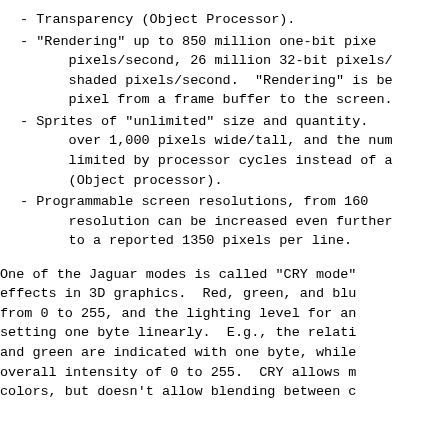- Transparency (Object Processor).
- "Rendering" up to 850 million one-bit pixe
      pixels/second, 26 million 32-bit pixels/
      shaded pixels/second.  "Rendering" is be
      pixel from a frame buffer to the screen.
- Sprites of "unlimited" size and quantity.
      over 1,000 pixels wide/tall, and the num
      limited by processor cycles instead of a
      (Object processor).
- Programmable screen resolutions, from 160
      resolution can be increased even further
      to a reported 1350 pixels per line.
One of the Jaguar modes is called "CRY mode"
effects in 3D graphics.  Red, green, and blu
from 0 to 255, and the lighting level for an
setting one byte linearly.  E.g., the relati
and green are indicated with one byte, while
overall intensity of 0 to 255.  CRY allows m
colors, but doesn't allow blending between c